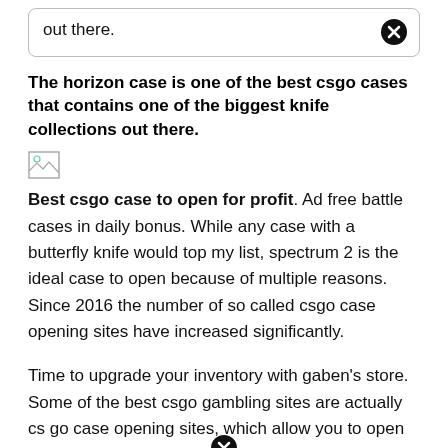out there.
The horizon case is one of the best csgo cases that contains one of the biggest knife collections out there.
[Figure (other): Broken image placeholder (small image icon)]
Best csgo case to open for profit. Ad free battle cases in daily bonus. While any case with a butterfly knife would top my list, spectrum 2 is the ideal case to open because of multiple reasons. Since 2016 the number of so called csgo case opening sites have increased significantly.
Time to upgrade your inventory with gaben's store. Some of the best csgo gambling sites are actually cs go case opening sites, which allow you to open premium cases and win rare skins. These aren't